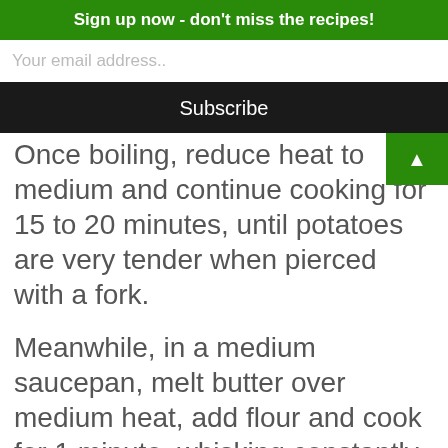Sign up now - don't miss the recipes!
Your email address..
Subscribe
Once boiling, reduce heat to medium and continue cooking for 15 to 20 minutes, until potatoes are very tender when pierced with a fork.
Meanwhile, in a medium saucepan, melt butter over medium heat, add flour and cook for 1 minute, whisking constantly. While whisking, slowly add the milk and cook, stirring constantly, until the mixture begins to thicken.
When potatoes are tender, add thick...